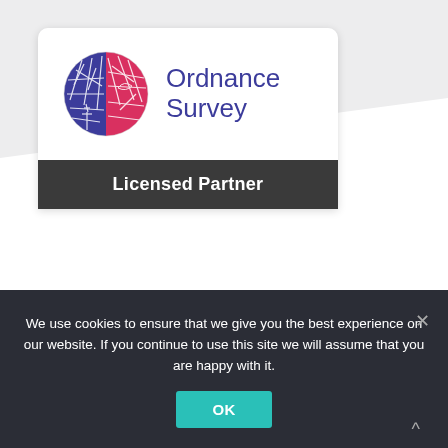[Figure (logo): Ordnance Survey Licensed Partner logo. A globe split into blue and pink halves with map lines, next to the text 'Ordnance Survey' in blue. Below is a dark grey banner with white bold text 'Licensed Partner'.]
We use cookies to ensure that we give you the best experience on our website. If you continue to use this site we will assume that you are happy with it.